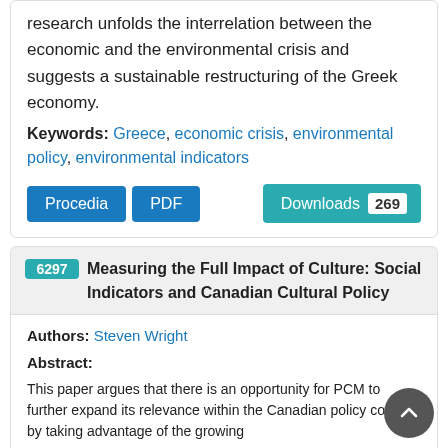research unfolds the interrelation between the economic and the environmental crisis and suggests a sustainable restructuring of the Greek economy.
Keywords: Greece, economic crisis, environmental policy, environmental indicators
Procedia   PDF   Downloads 269
6297  Measuring the Full Impact of Culture: Social Indicators and Canadian Cultural Policy
Authors: Steven Wright
Abstract:
This paper argues that there is an opportunity for PCM to further expand its relevance within the Canadian policy context by taking advantage of the growing